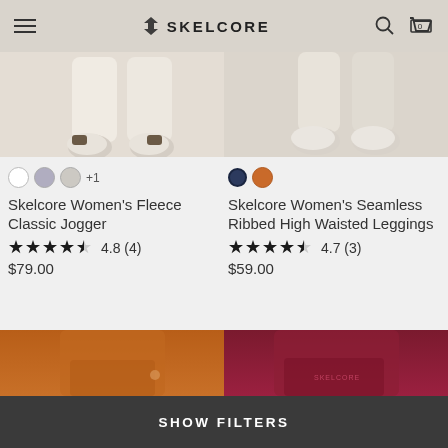SKELCORE — navigation header with menu, logo, search, and cart (0 items)
[Figure (photo): Two product images side by side showing feet/legs in cream/beige athletic shoes on light background — left product: Skelcore Women's Fleece Classic Jogger, right product: Skelcore Women's Seamless Ribbed High Waisted Leggings]
Skelcore Women's Fleece Classic Jogger
★★★★½ 4.8 (4)
$79.00
Skelcore Women's Seamless Ribbed High Waisted Leggings
★★★★½ 4.7 (3)
$59.00
[Figure (photo): Two product images partially visible at bottom — left: orange/rust colored shorts or skirt on tan model, right: dark red/maroon seamless leggings with Skelcore logo on model]
SHOW FILTERS